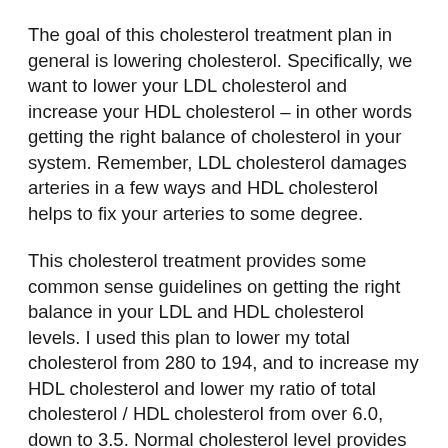The goal of this cholesterol treatment plan in general is lowering cholesterol. Specifically, we want to lower your LDL cholesterol and increase your HDL cholesterol – in other words getting the right balance of cholesterol in your system. Remember, LDL cholesterol damages arteries in a few ways and HDL cholesterol helps to fix your arteries to some degree.
This cholesterol treatment provides some common sense guidelines on getting the right balance in your LDL and HDL cholesterol levels. I used this plan to lower my total cholesterol from 280 to 194, and to increase my HDL cholesterol and lower my ratio of total cholesterol / HDL cholesterol from over 6.0, down to 3.5. Normal cholesterol level provides a simple description of what these